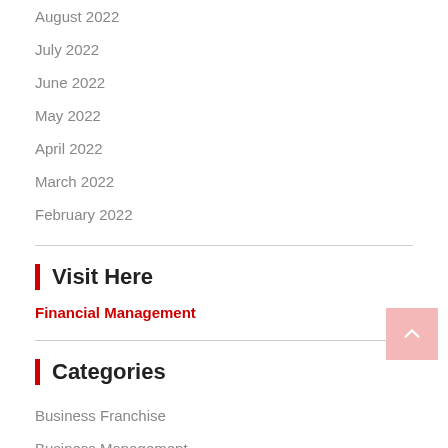August 2022
July 2022
June 2022
May 2022
April 2022
March 2022
February 2022
Visit Here
Financial Management
Categories
Business Franchise
Business Management